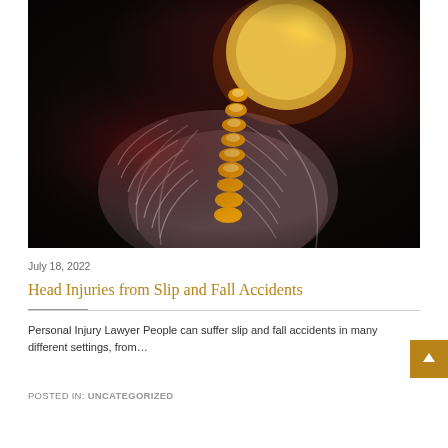[Figure (photo): Medical illustration showing a translucent human figure with glowing orange spine and skull viewed from the side/back, on a dark background — depicting spinal/head anatomy relevant to injury law.]
July 18, 2022
Head Injuries from Slip and Fall Accidents
Personal Injury Lawyer People can suffer slip and fall accidents in many different settings, from…
POSTED IN: UNCATEGORIZED